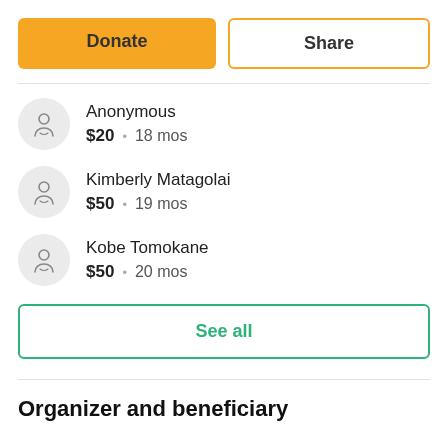Donate
Share
Anonymous · $20 · 18 mos
Kimberly Matagolai · $50 · 19 mos
Kobe Tomokane · $50 · 20 mos
See all
Organizer and beneficiary